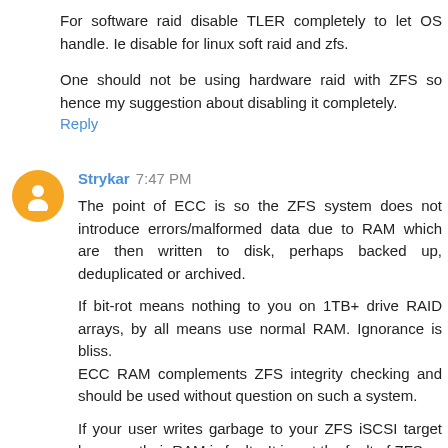For software raid disable TLER completely to let OS handle. Ie disable for linux soft raid and zfs.
One should not be using hardware raid with ZFS so hence my suggestion about disabling it completely.
Reply
Strykar 7:47 PM
The point of ECC is so the ZFS system does not introduce errors/malformed data due to RAM which are then written to disk, perhaps backed up, deduplicated or archived.
If bit-rot means nothing to you on 1TB+ drive RAID arrays, by all means use normal RAM. Ignorance is bliss.
ECC RAM complements ZFS integrity checking and should be used without question on such a system.
If your user writes garbage to your ZFS iSCSI target because their RAM is faulty. It is not the fault of ZFS.
Taking that same users good data from their iSCSI disk